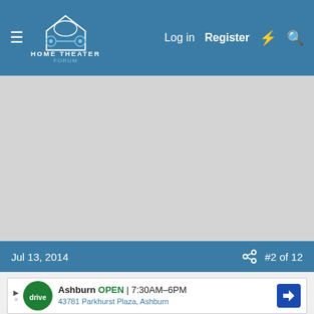Home Theater Forum — Log in | Register
[Figure (screenshot): Gray advertisement/content area placeholder]
Jul 13, 2014
#2 of 12
Matt Hough
Reviewer  Senior HTF Member
Thank y... is release... nd
[Figure (infographic): Ad overlay: Ashburn OPEN 7:30AM-6PM, 43781 Parkhurst Plaza, Ashburn, DriveAuto logo]